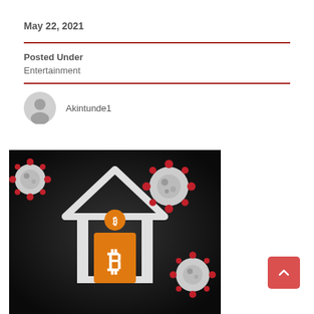May 22, 2021
Posted Under
Entertainment
Akintunde1
[Figure (illustration): Bitcoin cryptocurrency illustration: a white house outline with a small orange Bitcoin coin above the doorway and a large orange Bitcoin shield/badge on the door, set against a dark background with red-and-white coronavirus particles floating around it.]